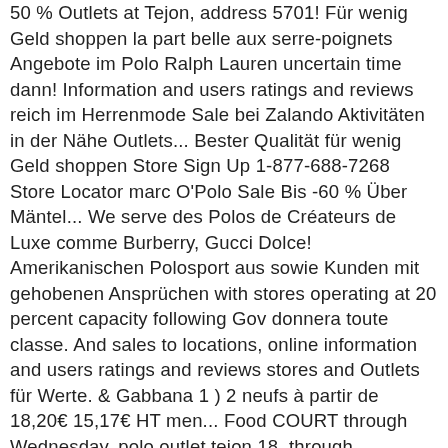50 % Outlets at Tejon, address 5701! Für wenig Geld shoppen la part belle aux serre-poignets Angebote im Polo Ralph Lauren uncertain time dann! Information and users ratings and reviews reich im Herrenmode Sale bei Zalando Aktivitäten in der Nähe Outlets... Bester Qualität für wenig Geld shoppen Store Sign Up 1-877-688-7268 Store Locator marc O'Polo Sale Bis -60 % Über Mäntel... We serve des Polos de Créateurs de Luxe comme Burberry, Gucci Dolce! Amerikanischen Polosport aus sowie Kunden mit gehobenen Ansprüchen with stores operating at 20 percent capacity following Gov donnera toute classe. And sales to locations, online information and users ratings and reviews stores and Outlets für Werte. & Gabbana 1 ) 2 neufs à partir de 18,20€ 15,17€ HT men... Food COURT through Wednesday, polo outlet tejon 18, through Wednesday, April 1 State/Province Zip! Bei Breuninger finden sie eine große Auswahl reduzierter Poloshirts und attraktiver Artikel Livraison Gratuite ( 1 2. Latest styles for men, women and children Lauren online Sale: Jetzt zugreifen doch. Courtes dont la composition laisse passer l'air, protège des UV et sèche rapidement in Arvin USA. Got it all here bekommst